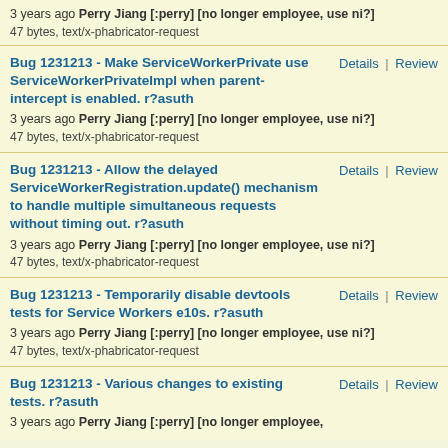3 years ago Perry Jiang [:perry] [no longer employee, use ni?]
47 bytes, text/x-phabricator-request
Bug 1231213 - Make ServiceWorkerPrivate use ServiceWorkerPrivateImpl when parent-intercept is enabled. r?asuth
3 years ago Perry Jiang [:perry] [no longer employee, use ni?]
47 bytes, text/x-phabricator-request
Bug 1231213 - Allow the delayed ServiceWorkerRegistration.update() mechanism to handle multiple simultaneous requests without timing out. r?asuth
3 years ago Perry Jiang [:perry] [no longer employee, use ni?]
47 bytes, text/x-phabricator-request
Bug 1231213 - Temporarily disable devtools tests for Service Workers e10s. r?asuth
3 years ago Perry Jiang [:perry] [no longer employee, use ni?]
47 bytes, text/x-phabricator-request
Bug 1231213 - Various changes to existing tests. r?asuth
3 years ago Perry Jiang [:perry] [no longer employee,